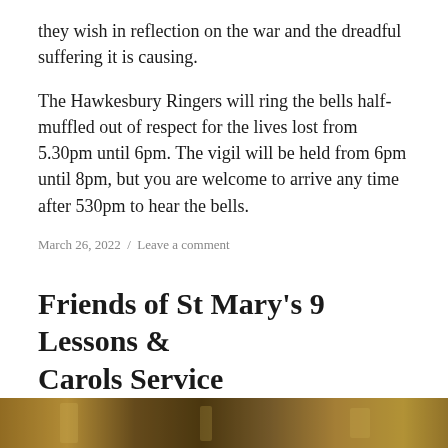they wish in reflection on the war and the dreadful suffering it is causing.
The Hawkesbury Ringers will ring the bells half-muffled out of respect for the lives lost from 5.30pm until 6pm. The vigil will be held from 6pm until 8pm, but you are welcome to arrive any time after 530pm to hear the bells.
March 26, 2022  /  Leave a comment
Friends of St Mary's 9 Lessons & Carols Service
[Figure (photo): A photograph strip at the bottom of the page showing an interior scene with warm golden tones.]